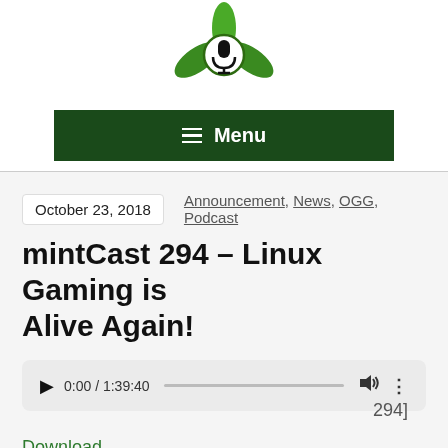[Figure (logo): Green mint leaves with a microphone icon in a circle — podcast logo]
Menu
October 23, 2018   Announcement, News, OGG, Podcast
mintCast 294 – Linux Gaming is Alive Again!
[Figure (other): Audio player showing 0:00 / 1:39:40 with play button, progress bar, volume and more icons]
294]
Download